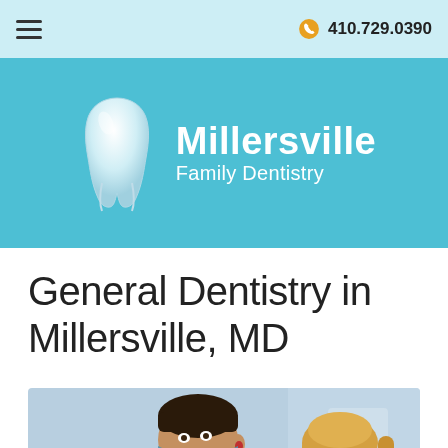☰   410.729.0390
[Figure (logo): Millersville Family Dentistry logo with white tooth graphic on teal background, text reads 'Millersville Family Dentistry']
General Dentistry in Millersville, MD
[Figure (photo): Dentist in white coat and mask examining a female patient with open mouth in a dental office]